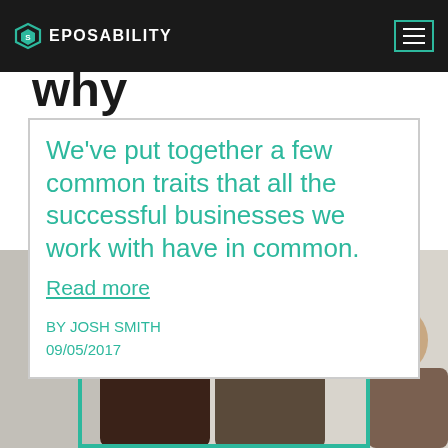EPOSABILITY
12 Reasons why restaurants succeed
We've put together a few common traits that all the successful businesses we work with have in common.
Read more
BY JOSH SMITH
09/05/2017
[Figure (photo): Photo of people in a restaurant or business setting, viewed through a teal hexagonal frame/clipping shape]